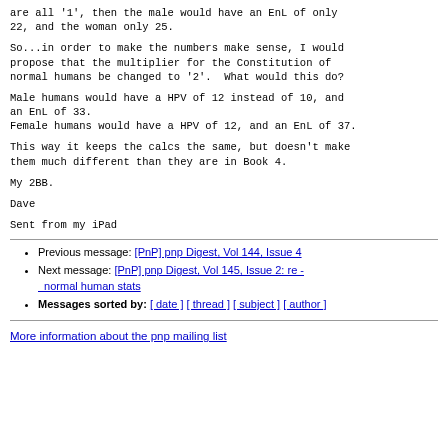are all '1', then the male would have an EnL of only 22, and the woman only 25.
So...in order to make the numbers make sense, I would propose that the multiplier for the Constitution of normal humans be changed to '2'.  What would this do?
Male humans would have a HPV of 12 instead of 10, and an EnL of 33.
Female humans would have a HPV of 12, and an EnL of 37.
This way it keeps the calcs the same, but doesn't make them much different than they are in Book 4.
My 2BB.
Dave
Sent from my iPad
Previous message: [PnP] pnp Digest, Vol 144, Issue 4
Next message: [PnP] pnp Digest, Vol 145, Issue 2: re - normal human stats
Messages sorted by: [ date ] [ thread ] [ subject ] [ author ]
More information about the pnp mailing list